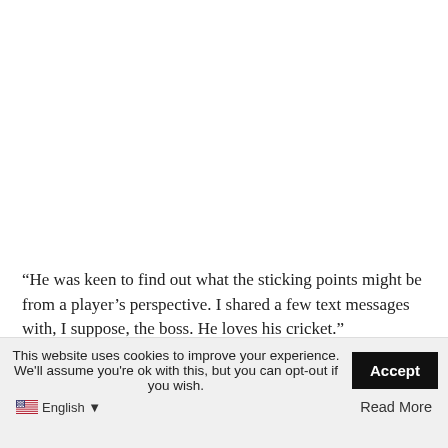“He was keen to find out what the sticking points might be from a player’s perspective. I shared a few text messages with, I suppose, the boss. He loves his cricket.”
Paine said everything he was hearing out of England was “really...
This website uses cookies to improve your experience. We'll assume you're ok with this, but you can opt-out if you wish.
Accept
English ▾
Read More